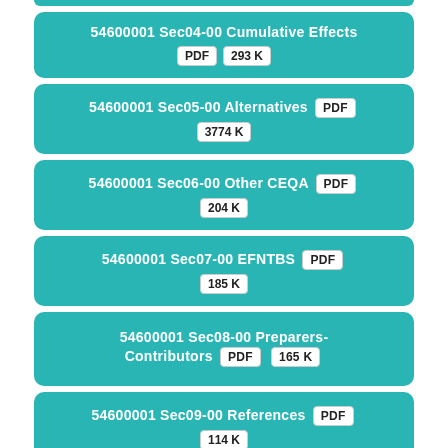54600001 Sec04-00 Cumulative Effects PDF 293K
54600001 Sec05-00 Alternatives PDF 3774K
54600001 Sec06-00 Other CEQA PDF 204K
54600001 Sec07-00 EFNTBS PDF 185K
54600001 Sec08-00 Preparers-Contributors PDF 165K
54600001 Sec09-00 References PDF 114K
Appendix A – Notice of Preparation